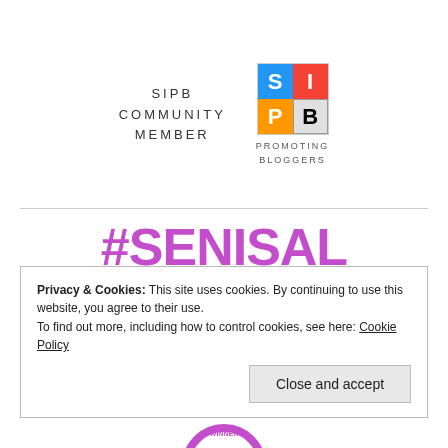[Figure (logo): SIPB Community Member badge with SIPB grid logo (blue S, red I, orange P, grey B squares) and text PROMOTING BLOGGERS]
#SENISAL FEATURED WINNER
Privacy & Cookies: This site uses cookies. By continuing to use this website, you agree to their use.
To find out more, including how to control cookies, see here: Cookie Policy
Close and accept